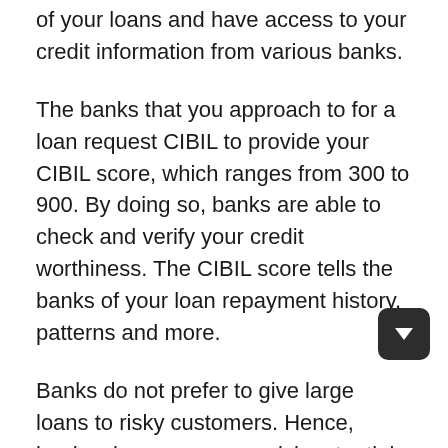of your loans and have access to your credit information from various banks.
The banks that you approach to for a loan request CIBIL to provide your CIBIL score, which ranges from 300 to 900. By doing so, banks are able to check and verify your credit worthiness. The CIBIL score tells the banks of your loan repayment history, patterns and more.
Banks do not prefer to give large loans to risky customers. Hence, banks also assess your risk potential with the help of your CIBIL score.
In a nutshell, the CIBIL score is a three-digit number that ranges from 300 to 900. A CIBIL score of 700 or above is considered to be excellent and you will also be eligible to utilise apps like CRED that give you enticing rewards as you spend money using your credit cards.